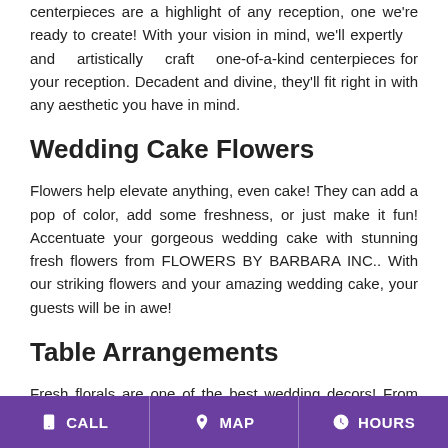centerpieces are a highlight of any reception, one we're ready to create! With your vision in mind, we'll expertly and artistically craft one-of-a-kind centerpieces for your reception. Decadent and divine, they'll fit right in with any aesthetic you have in mind.
Wedding Cake Flowers
Flowers help elevate anything, even cake! They can add a pop of color, add some freshness, or just make it fun! Accentuate your gorgeous wedding cake with stunning fresh flowers from FLOWERS BY BARBARA INC.. With our striking flowers and your amazing wedding cake, your guests will be in awe!
Table Arrangements
Fresh florals are one of the best wedding decors! From delicate and elegant to fun and spunky, we'll
CALL   MAP   HOURS